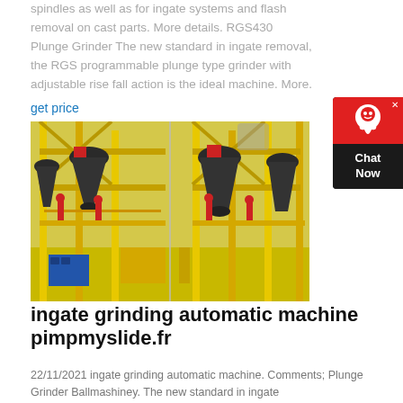spindles as well as for ingate systems and flash removal on cast parts. More details. RGS430 Plunge Grinder The new standard in ingate removal, the RGS programmable plunge type grinder with adjustable rise fall action is the ideal machine. More.
get price
[Figure (photo): Industrial grinding machines with yellow metal framework structures, multiple large black cone-shaped grinders mounted on yellow scaffolding, workers in red visible on the platform]
ingate grinding automatic machine pimpmyslide.fr
22/11/2021 ingate grinding automatic machine. Comments; Plunge Grinder Ballmashiney. The new standard in ingate